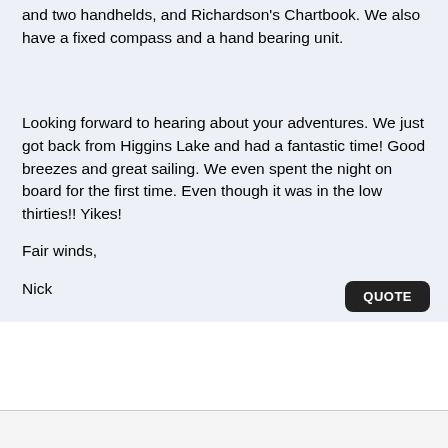and two handhelds, and Richardson's Chartbook. We also have a fixed compass and a hand bearing unit.
Looking forward to hearing about your adventures. We just got back from Higgins Lake and had a fantastic time! Good breezes and great sailing. We even spent the night on board for the first time. Even though it was in the low thirties!! Yikes!
Fair winds,
Nick